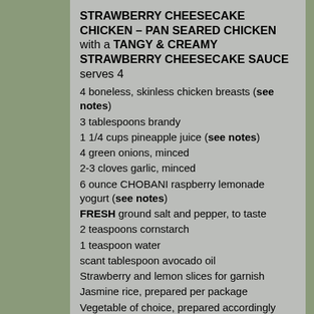STRAWBERRY CHEESECAKE CHICKEN – PAN SEARED CHICKEN with a TANGY & CREAMY STRAWBERRY CHEESECAKE SAUCE serves 4
4 boneless, skinless chicken breasts (see notes)
3 tablespoons brandy
1 1/4 cups pineapple juice (see notes)
4 green onions, minced
2-3 cloves garlic, minced
6 ounce CHOBANI raspberry lemonade yogurt (see notes)
FRESH ground salt and pepper, to taste
2 teaspoons cornstarch
1 teaspoon water
scant tablespoon avocado oil
Strawberry and lemon slices for garnish
Jasmine rice, prepared per package
Vegetable of choice, prepared accordingly